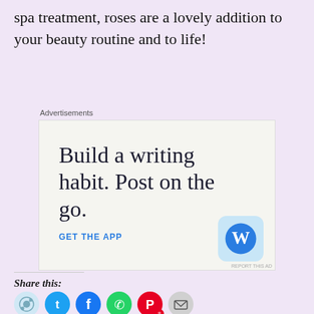spa treatment, roses are a lovely addition to your beauty routine and to life!
[Figure (other): WordPress advertisement banner: 'Build a writing habit. Post on the go.' with GET THE APP call-to-action and WordPress logo icon]
Share this:
[Figure (other): Social sharing icons: Reddit, Twitter, Facebook, WhatsApp, Pinterest (with badge 8), Email]